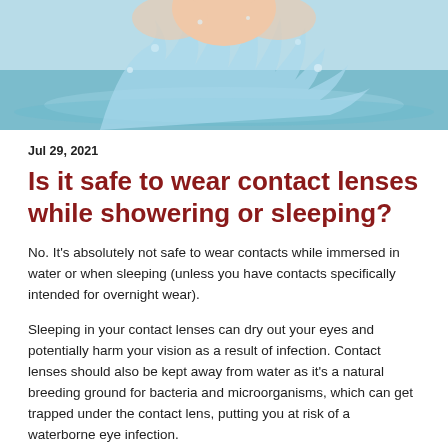[Figure (photo): Woman with water splashing around her face against a light blue background]
Jul 29, 2021
Is it safe to wear contact lenses while showering or sleeping?
No. It's absolutely not safe to wear contacts while immersed in water or when sleeping (unless you have contacts specifically intended for overnight wear).
Sleeping in your contact lenses can dry out your eyes and potentially harm your vision as a result of infection. Contact lenses should also be kept away from water as it's a natural breeding ground for bacteria and microorganisms, which can get trapped under the contact lens, putting you at risk of a waterborne eye infection.